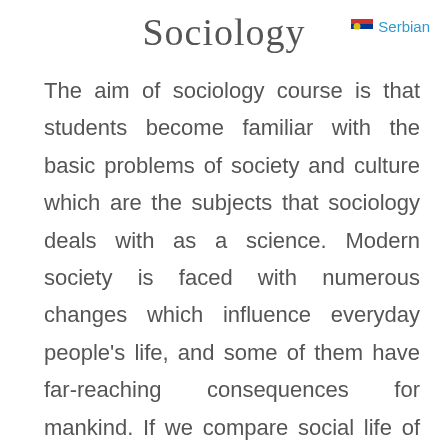Sociology
Serbian
The aim of sociology course is that students become familiar with the basic problems of society and culture which are the subjects that sociology deals with as a science. Modern society is faced with numerous changes which influence everyday people’s life, and some of them have far-reaching consequences for mankind. If we compare social life of people, their means of work, morality and customs they had couple decades